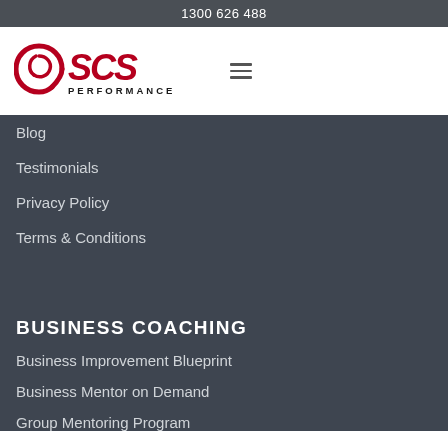1300 626 488
[Figure (logo): SCS Performance logo with circular swish and stylized SCS letters in red and black, with PERFORMANCE text below]
Blog
Testimonials
Privacy Policy
Terms & Conditions
BUSINESS COACHING
Business Improvement Blueprint
Business Mentor on Demand
Group Mentoring Program